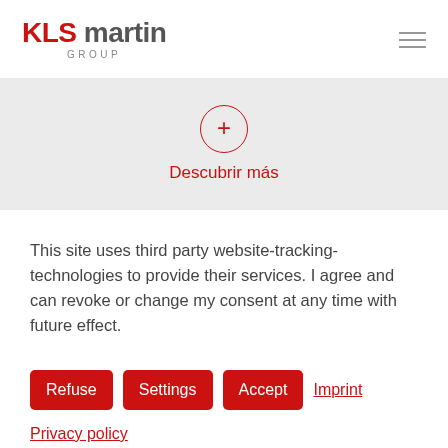KLS martin GROUP
[Figure (infographic): Red circle with plus sign and text 'Descubrir más' below]
Descubrir más
This site uses third party website-tracking-technologies to provide their services. I agree and can revoke or change my consent at any time with future effect.
Refuse   Settings   Accept   Imprint
Privacy policy